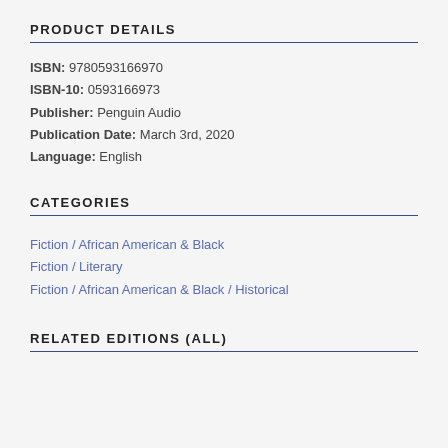PRODUCT DETAILS
ISBN: 9780593166970
ISBN-10: 0593166973
Publisher: Penguin Audio
Publication Date: March 3rd, 2020
Language: English
CATEGORIES
Fiction / African American & Black
Fiction / Literary
Fiction / African American & Black / Historical
RELATED EDITIONS (ALL)